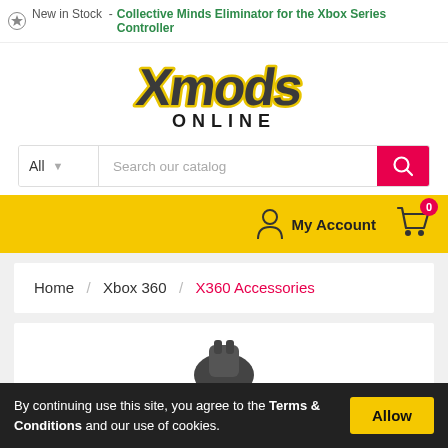New in Stock - Collective Minds Eliminator for the Xbox Series Controller
[Figure (logo): Xmods Online logo — stylized graffiti-style 'Xmods' text in gray/black with yellow outline, 'ONLINE' in black block letters beneath]
All  Search our catalog
My Account  0 (cart)
Home / Xbox 360 / X360 Accessories
By continuing use this site, you agree to the Terms & Conditions and our use of cookies. Allow